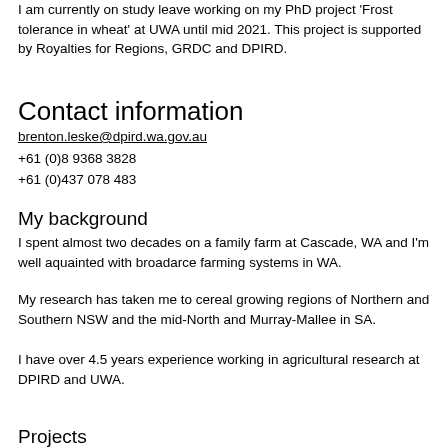I am currently on study leave working on my PhD project 'Frost tolerance in wheat' at UWA until mid 2021. This project is supported by Royalties for Regions, GRDC and DPIRD.
Contact information
brenton.leske@dpird.wa.gov.au
+61 (0)8 9368 3828
+61 (0)437 078 483
My background
I spent almost two decades on a family farm at Cascade, WA and I'm well aquainted with broadarce farming systems in WA.
My research has taken me to cereal growing regions of Northern and Southern NSW and the mid-North and Murray-Mallee in SA.
I have over 4.5 years experience working in agricultural research at DPIRD and UWA.
Projects